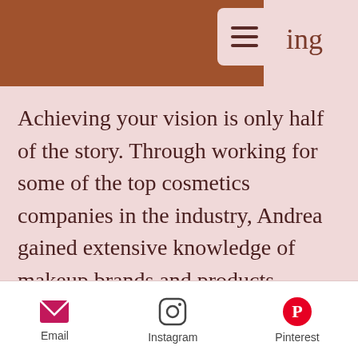ing
Achieving your vision is only half of the story. Through working for some of the top cosmetics companies in the industry, Andrea gained extensive knowledge of makeup brands and products. Understanding how different products respond to different skin types, climates, lighting, and more, helps Andrea create a customized look for you based on your needs, so your look will outlast your
Email  Instagram  Pinterest